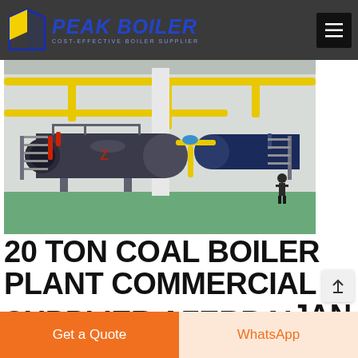PEAK BOILER — COST-EFFECTIVE BOILER SUPPLIER
[Figure (photo): Industrial boiler plant showing two large cylindrical horizontal fire-tube boilers (dark blue/gray) with yellow overhead piping, red piping details, metal access stairs and railings, in a clean industrial facility with white walls and green floor.]
20 TON COAL BOILER PLANT COMMERCIAL SUPPLIER AZERBAIJAN
Get a Quote
WhatsApp